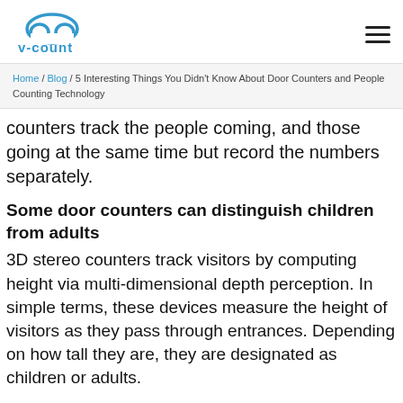v-count logo and hamburger menu
Home / Blog / 5 Interesting Things You Didn't Know About Door Counters and People Counting Technology
counters track the people coming, and those going at the same time but record the numbers separately.
Some door counters can distinguish children from adults
3D stereo counters track visitors by computing height via multi-dimensional depth perception. In simple terms, these devices measure the height of visitors as they pass through entrances. Depending on how tall they are, they are designated as children or adults.
While customers may visit business locations with their children, the kids are not typically the target market. If kids